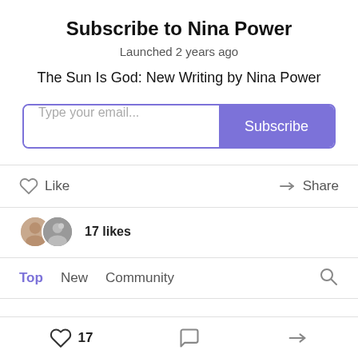Subscribe to Nina Power
Launched 2 years ago
The Sun Is God: New Writing by Nina Power
[Figure (screenshot): Email subscription form with 'Type your email...' placeholder input on left and purple 'Subscribe' button on right]
[Figure (infographic): Like button (heart icon) on left and Share button (share icon) on right]
[Figure (infographic): Two user avatars followed by '17 likes' text]
Top   New   Community
[Figure (infographic): Bottom toolbar with heart/17, comment bubble, and share icons]